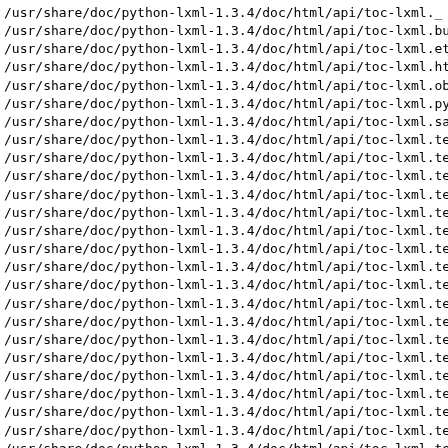/usr/share/doc/python-lxml-1.3.4/doc/html/api/toc-lxml._
/usr/share/doc/python-lxml-1.3.4/doc/html/api/toc-lxml.bu
/usr/share/doc/python-lxml-1.3.4/doc/html/api/toc-lxml.et
/usr/share/doc/python-lxml-1.3.4/doc/html/api/toc-lxml.ht
/usr/share/doc/python-lxml-1.3.4/doc/html/api/toc-lxml.ob
/usr/share/doc/python-lxml-1.3.4/doc/html/api/toc-lxml.py
/usr/share/doc/python-lxml-1.3.4/doc/html/api/toc-lxml.sa
/usr/share/doc/python-lxml-1.3.4/doc/html/api/toc-lxml.te
/usr/share/doc/python-lxml-1.3.4/doc/html/api/toc-lxml.te
/usr/share/doc/python-lxml-1.3.4/doc/html/api/toc-lxml.te
/usr/share/doc/python-lxml-1.3.4/doc/html/api/toc-lxml.te
/usr/share/doc/python-lxml-1.3.4/doc/html/api/toc-lxml.te
/usr/share/doc/python-lxml-1.3.4/doc/html/api/toc-lxml.te
/usr/share/doc/python-lxml-1.3.4/doc/html/api/toc-lxml.te
/usr/share/doc/python-lxml-1.3.4/doc/html/api/toc-lxml.te
/usr/share/doc/python-lxml-1.3.4/doc/html/api/toc-lxml.te
/usr/share/doc/python-lxml-1.3.4/doc/html/api/toc-lxml.te
/usr/share/doc/python-lxml-1.3.4/doc/html/api/toc-lxml.te
/usr/share/doc/python-lxml-1.3.4/doc/html/api/toc-lxml.te
/usr/share/doc/python-lxml-1.3.4/doc/html/api/toc-lxml.te
/usr/share/doc/python-lxml-1.3.4/doc/html/api/toc-lxml.te
/usr/share/doc/python-lxml-1.3.4/doc/html/api/toc-lxml.te
/usr/share/doc/python-lxml-1.3.4/doc/html/api/toc-lxml.te
/usr/share/doc/python-lxml-1.3.4/doc/html/api/toc-lxml.te
/usr/share/doc/python-lxml-1.3.4/doc/html/api/toc-lxml.te
/usr/share/doc/python-lxml-1.3.4/doc/html/api/toc-xml.etr
/usr/share/doc/python-lxml-1.3.4/doc/html/api/toc.html
/usr/share/doc/python-lxml-1.3.4/doc/html/api/xml.etree.E
/usr/share/doc/python-lxml-1.3.4/doc/html/api/xml.etree.E
/usr/share/doc/python-lxml-1.3.4/doc/html/api/xml.etree.E